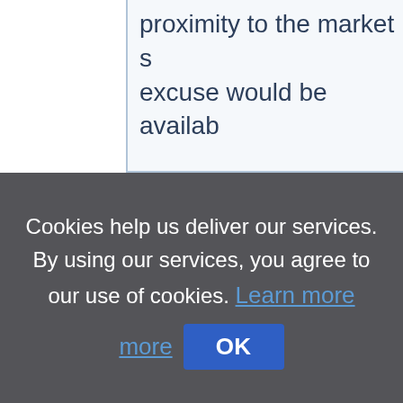proximity to the market s… excuse would be availab…
Cookies help us deliver our services. By using our services, you agree to our use of cookies. Learn more OK